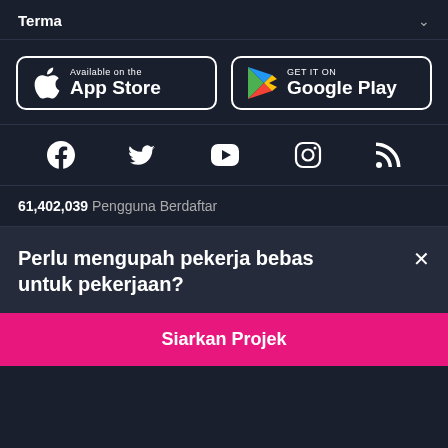Terma
[Figure (logo): App Store download button with Apple logo]
[Figure (logo): Google Play download button with Play logo]
[Figure (infographic): Social media icons: Facebook, Twitter, YouTube, Instagram, RSS]
61,402,039 Pengguna Berdaftar
Perlu mengupah pekerja bebas untuk pekerjaan?
Siarkan Projek